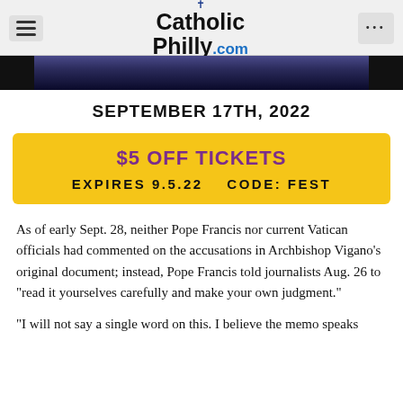CatholicPhilly.com
[Figure (photo): Partial dark banner image at the top of the article]
SEPTEMBER 17TH, 2022
[Figure (infographic): Yellow promotional box: $5 OFF TICKETS — EXPIRES 9.5.22   CODE: FEST]
As of early Sept. 28, neither Pope Francis nor current Vatican officials had commented on the accusations in Archbishop Vigano’s original document; instead, Pope Francis told journalists Aug. 26 to “read it yourselves carefully and make your own judgment.”
“I will not say a single word on this. I believe the memo speaks